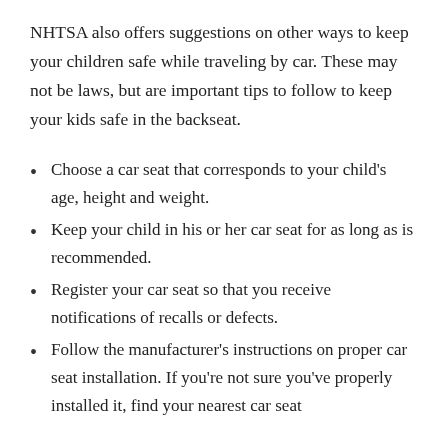NHTSA also offers suggestions on other ways to keep your children safe while traveling by car. These may not be laws, but are important tips to follow to keep your kids safe in the backseat.
Choose a car seat that corresponds to your child's age, height and weight.
Keep your child in his or her car seat for as long as is recommended.
Register your car seat so that you receive notifications of recalls or defects.
Follow the manufacturer's instructions on proper car seat installation. If you're not sure you've properly installed it, find your nearest car seat